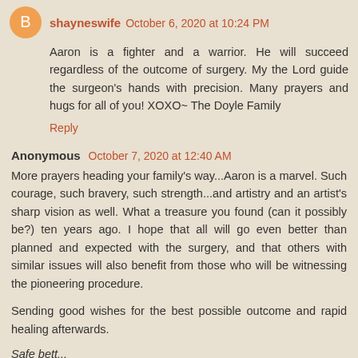shayneswife October 6, 2020 at 10:24 PM
Aaron is a fighter and a warrior. He will succeed regardless of the outcome of surgery. My the Lord guide the surgeon's hands with precision. Many prayers and hugs for all of you! XOXO~ The Doyle Family
Reply
Anonymous October 7, 2020 at 12:40 AM
More prayers heading your family's way...Aaron is a marvel. Such courage, such bravery, such strength...and artistry and an artist's sharp vision as well. What a treasure you found (can it possibly be?) ten years ago. I hope that all will go even better than planned and expected with the surgery, and that others with similar issues will also benefit from those who will be witnessing the pioneering procedure.
Sending good wishes for the best possible outcome and rapid healing afterwards.